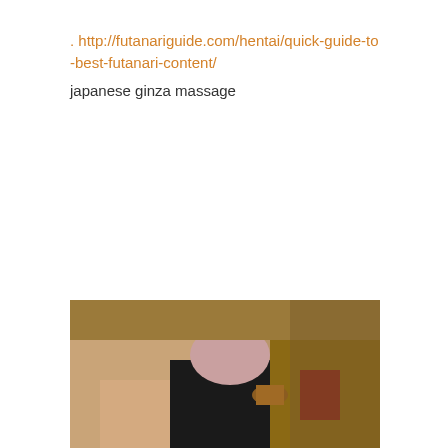. http://futanariguide.com/hentai/quick-guide-to-best-futanari-content/
japanese ginza massage
[Figure (photo): A photo showing a massage scene with a person bending over a surface in what appears to be a Japanese-style room with wooden furniture and red objects in the background.]